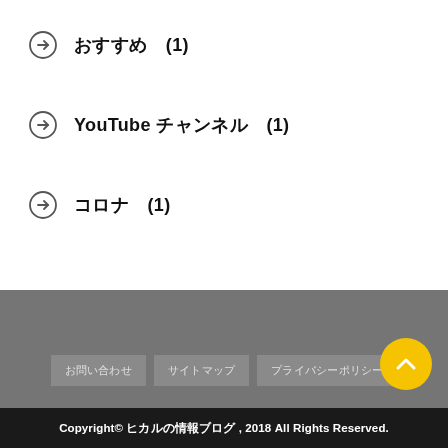おすすめ (1)
YouTube チャンネル (1)
コロナ (1)
お問い合わせ　サイトマップ　プライバシーポリシー
Copyright© ヒカルの情報ブログ , 2018 All Rights Reserved.